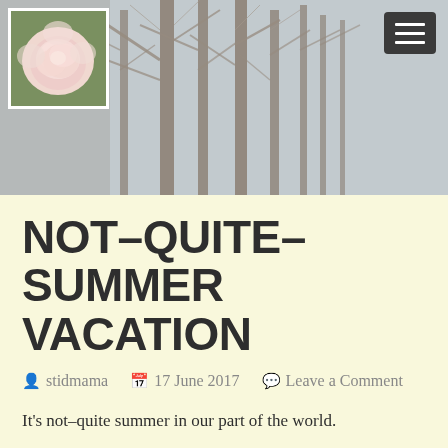[Figure (photo): Header banner photo of bare winter/spring trees against a pale sky, with a pink rose thumbnail in the top-left corner and a dark hamburger menu button in the top-right corner.]
NOT-QUITE-SUMMER VACATION
stidmama   17 June 2017   Leave a Comment
It's not-quite summer in our part of the world.